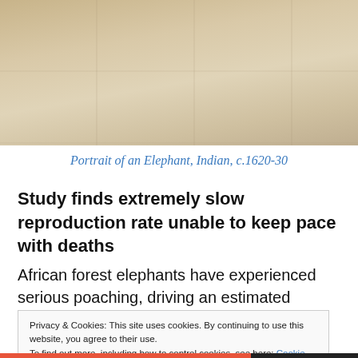[Figure (photo): Partial view of a historical Indian drawing or painting, beige/tan colored, showing faint sketched outlines, c.1620-30, cropped at top]
Portrait of an Elephant, Indian, c.1620-30
Study finds extremely slow reproduction rate unable to keep pace with deaths
African forest elephants have experienced serious poaching, driving an estimated population decline of 65%
Privacy & Cookies: This site uses cookies. By continuing to use this website, you agree to their use.
To find out more, including how to control cookies, see here: Cookie Policy